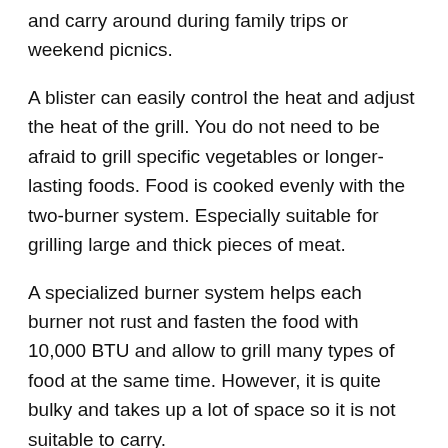and carry around during family trips or weekend picnics.
A blister can easily control the heat and adjust the heat of the grill. You do not need to be afraid to grill specific vegetables or longer-lasting foods. Food is cooked evenly with the two-burner system. Especially suitable for grilling large and thick pieces of meat.
A specialized burner system helps each burner not rust and fasten the food with 10,000 BTU and allow to grill many types of food at the same time. However, it is quite bulky and takes up a lot of space so it is not suitable to carry.
Advantages